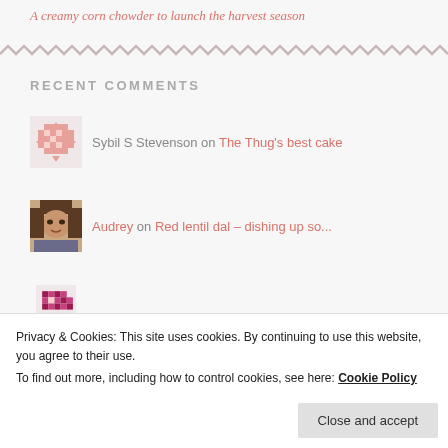A creamy corn chowder to launch the harvest season
RECENT COMMENTS
Sybil S Stevenson on The Thug's best cake
Audrey on Red lentil dal – dishing up so...
Privacy & Cookies: This site uses cookies. By continuing to use this website, you agree to their use. To find out more, including how to control cookies, see here: Cookie Policy